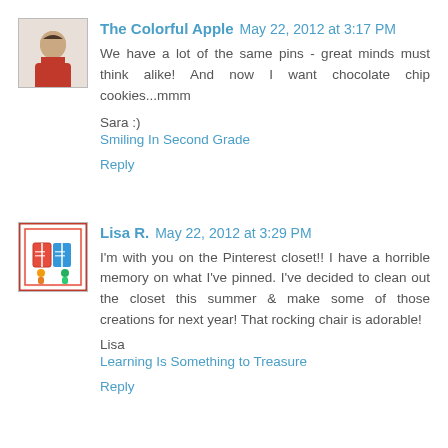The Colorful Apple  May 22, 2012 at 3:17 PM
We have a lot of the same pins - great minds must think alike! And now I want chocolate chip cookies...mmm

Sara :)
Smiling In Second Grade
Reply
Lisa R.  May 22, 2012 at 3:29 PM
I'm with you on the Pinterest closet!! I have a horrible memory on what I've pinned. I've decided to clean out the closet this summer & make some of those creations for next year! That rocking chair is adorable!
Lisa
Learning Is Something to Treasure
Reply